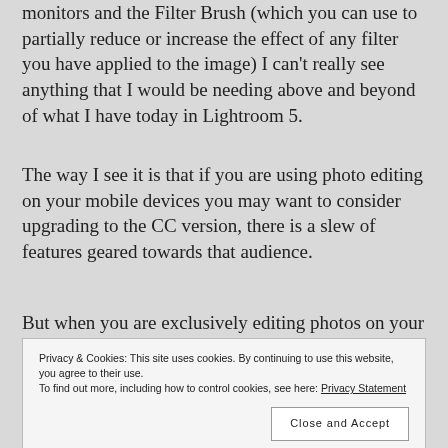monitors and the Filter Brush (which you can use to partially reduce or increase the effect of any filter you have applied to the image) I can’t really see anything that I would be needing above and beyond of what I have today in Lightroom 5.
The way I see it is that if you are using photo editing on your mobile devices you may want to consider upgrading to the CC version, there is a slew of features geared towards that audience.
But when you are exclusively editing photos on your
Privacy & Cookies: This site uses cookies. By continuing to use this website, you agree to their use.
To find out more, including how to control cookies, see here: Privacy Statement
Close and Accept